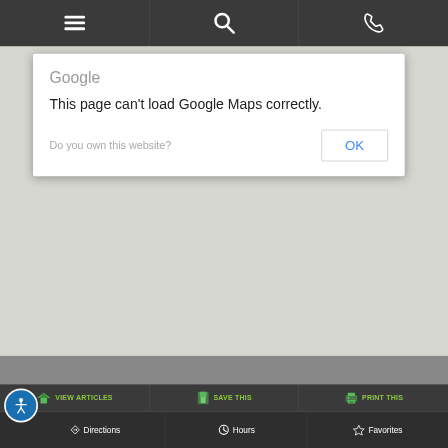[Figure (screenshot): Mobile browser top toolbar with hamburger menu icon, search icon, and phone icon on dark gray background]
[Figure (screenshot): Google Maps error dialog: 'Google' branding, message 'This page can't load Google Maps correctly.', 'Do you own this website?' with OK button, overlaid on gray map area]
[Figure (screenshot): Bottom action bar with VIEW ARTICLES, SAVE THIS, PRINT THIS buttons with green icons]
[Figure (screenshot): Bottom navigation bar with accessibility icon, Directions, Hours, and Favorites buttons]